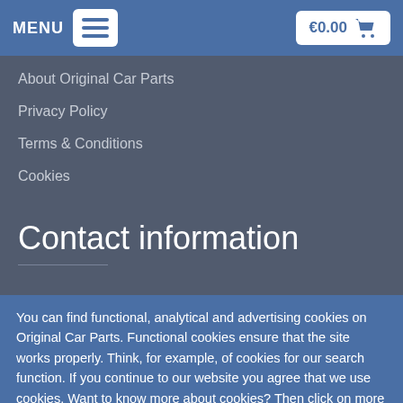MENU  €0.00
About Original Car Parts
Privacy Policy
Terms & Conditions
Cookies
Contact information
You can find functional, analytical and advertising cookies on Original Car Parts. Functional cookies ensure that the site works properly. Think, for example, of cookies for our search function. If you continue to our website you agree that we use cookies. Want to know more about cookies? Then click on more information